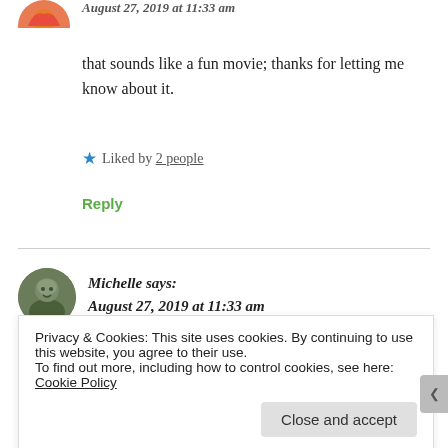[Figure (illustration): Partial circular avatar with orange/red decorative design, cropped at top]
August 27, 2019 at 11:33 am (partial, cropped at top)
that sounds like a fun movie; thanks for letting me know about it.
★ Liked by 2 people
Reply
[Figure (photo): Circular avatar photo of Michelle, a woman with dark hair]
Michelle says:
August 27, 2019 at 11:33 am
Privacy & Cookies: This site uses cookies. By continuing to use this website, you agree to their use.
To find out more, including how to control cookies, see here: Cookie Policy
Close and accept